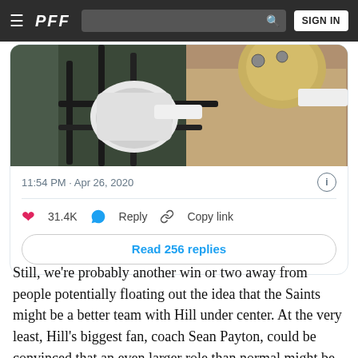PFF — SIGN IN
[Figure (photo): Close-up photo of a football helmet face mask and chin strap area]
11:54 PM · Apr 26, 2020
31.4K   Reply   Copy link
Read 256 replies
Still, we're probably another win or two away from people potentially floating out the idea that the Saints might be a better team with Hill under center. At the very least, Hill's biggest fan, coach Sean Payton, could be convinced that an even larger role than normal might be